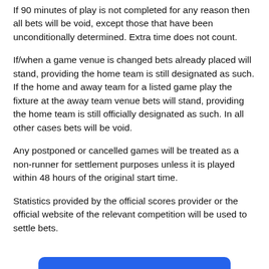If 90 minutes of play is not completed for any reason then all bets will be void, except those that have been unconditionally determined. Extra time does not count.
If/when a game venue is changed bets already placed will stand, providing the home team is still designated as such. If the home and away team for a listed game play the fixture at the away team venue bets will stand, providing the home team is still officially designated as such. In all other cases bets will be void.
Any postponed or cancelled games will be treated as a non-runner for settlement purposes unless it is played within 48 hours of the original start time.
Statistics provided by the official scores provider or the official website of the relevant competition will be used to settle bets.